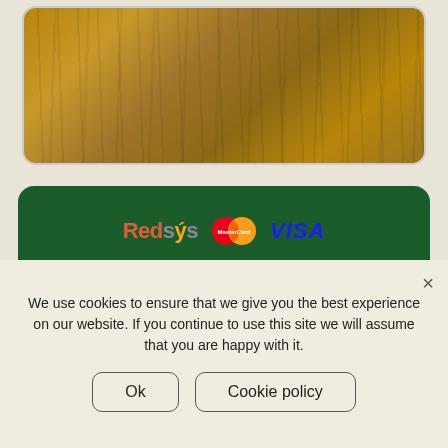[Figure (photo): Wood texture / surface photo shown at top of page]
[Figure (logo): Payment logos: Redsys, MasterCard, VISA on green background]
[Figure (logo): SSL Secure badge with padlock icon]
Privacy Policy
Política de cookies
Aviso legal
Opening times
We use cookies to ensure that we give you the best experience on our website. If you continue to use this site we will assume that you are happy with it.